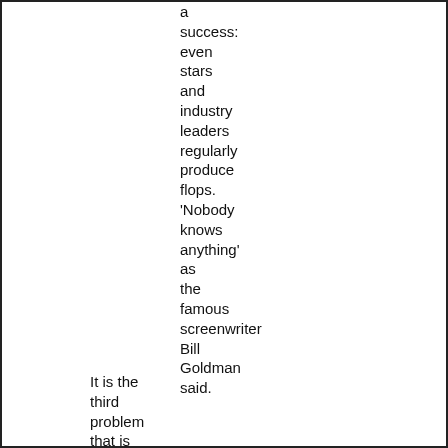a success: even stars and industry leaders regularly produce flops. 'Nobody knows anything' as the famous screenwriter Bill Goldman said.
It is the third problem that is the real